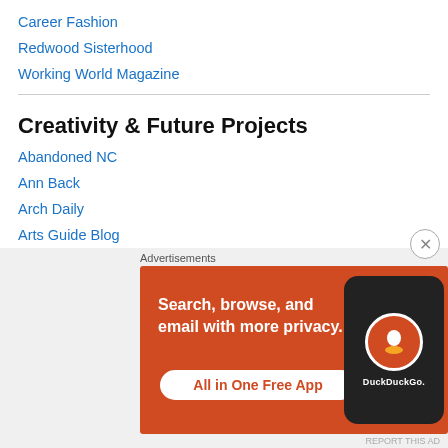Career Fashion
Redwood Sisterhood
Working World Magazine
Creativity & Future Projects
Abandoned NC
Ann Back
Arch Daily
Arts Guide Blog
Bazzolo Guitars
Boskke Skyplanters
Chicks With Steve Buscemi Eyes
[Figure (screenshot): DuckDuckGo advertisement banner: orange background with text 'Search, browse, and email with more privacy. All in One Free App' and a phone showing the DuckDuckGo logo]